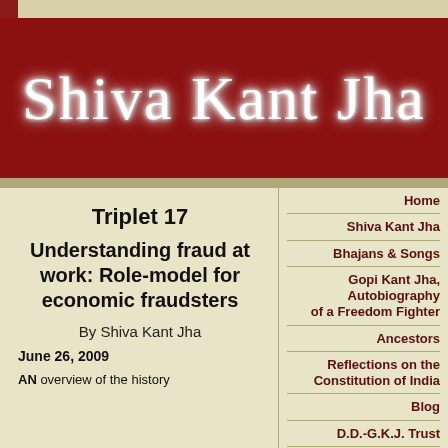Shiva Kant Jha
Triplet 17
Understanding fraud at work: Role-model for economic fraudsters
By Shiva Kant Jha
June 26, 2009
AN  overview of the history
Home
Shiva Kant Jha
Bhajans & Songs
Gopi Kant Jha, Autobiography of a Freedom Fighter
Ancestors
Reflections on the Constitution of India
Blog
D.D.-G.K.J. Trust
Bhagavadgita Study Centre